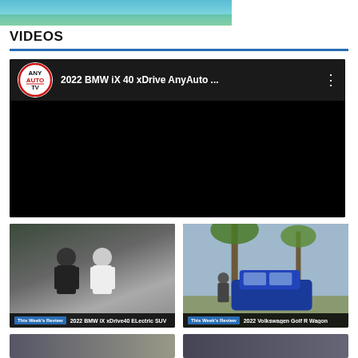[Figure (photo): Top cropped car image, green/teal tones, partial view]
VIDEOS
[Figure (screenshot): Embedded YouTube video player showing AnyAutoTV logo and title '2022 BMW iX 40 xDrive AnyAuto ...' with black video area]
[Figure (screenshot): Thumbnail: 2022 BMW iX xDrive40 Electric SUV - two men standing outdoors near cars]
[Figure (screenshot): Thumbnail: 2022 Volkswagen Golf R Wagon - blue car with person standing next to palm trees]